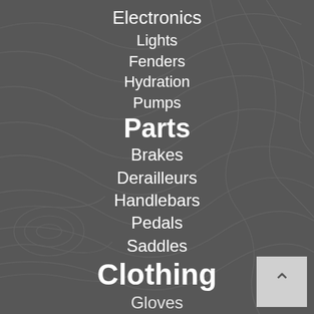Electronics
Lights
Fenders
Hydration
Pumps
Parts
Brakes
Derailleurs
Handlebars
Pedals
Saddles
Clothing
Gloves